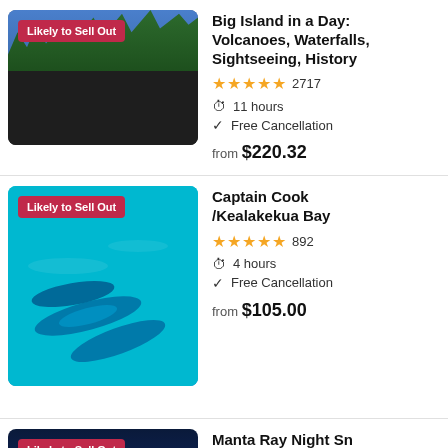[Figure (photo): Black sand beach with palm trees and people]
Big Island in a Day: Volcanoes, Waterfalls, Sightseeing, History
★★★★★ 2717
11 hours
Free Cancellation
from $220.32
[Figure (photo): Underwater dolphins in clear cyan water]
Captain Cook /Kealakekua Bay
★★★★★ 892
4 hours
Free Cancellation
from $105.00
[Figure (photo): Night water scene with lights reflecting]
Manta Ray Night Snorkel
★★★★½ 176
2 hours 30 minutes